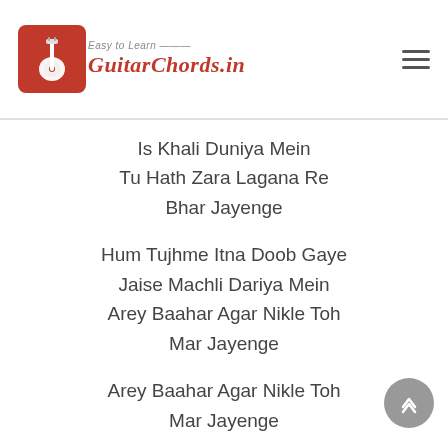Easy to Learn GuitarChords.in
Is Khali Duniya Mein
Tu Hath Zara Lagana Re
Bhar Jayenge
Hum Tujhme Itna Doob Gaye
Jaise Machli Dariya Mein
Arey Baahar Agar Nikle Toh
Mar Jayenge
Arey Baahar Agar Nikle Toh
Mar Jayenge
Tumhein Kabhi Jo Mujhko Chhod Kar
Phir Wapas Aana Hoga
Mere Ghar Ka Pata Mere Shehar Ka
Pagal Khana Hoga